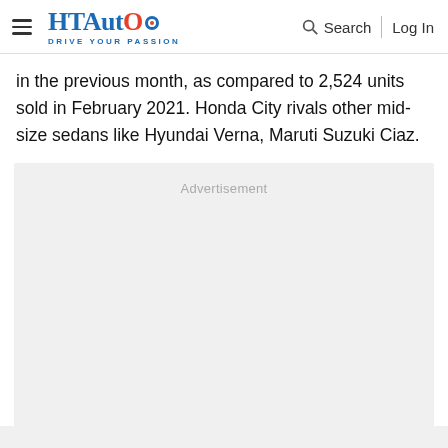HT Auto — Drive Your Passion | Search | Log In
in the previous month, as compared to 2,524 units sold in February 2021. Honda City rivals other mid-size sedans like Hyundai Verna, Maruti Suzuki Ciaz.
[Figure (other): Advertisement placeholder box with light grey background and 'Advertisement' label]